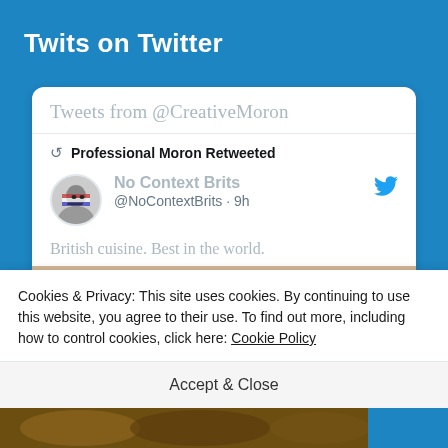Twits on Twitter
Tweets from @CreativeMoron
Professional Moron Retweeted
No Context Brits @NoContextBrits · 9h
British cuisine. Best in the world.
[Figure (screenshot): Partial food image strip showing blurry food item]
Cookies & Privacy: This site uses cookies. By continuing to use this website, you agree to their use. To find out more, including how to control cookies, click here: Cookie Policy
Accept & Close